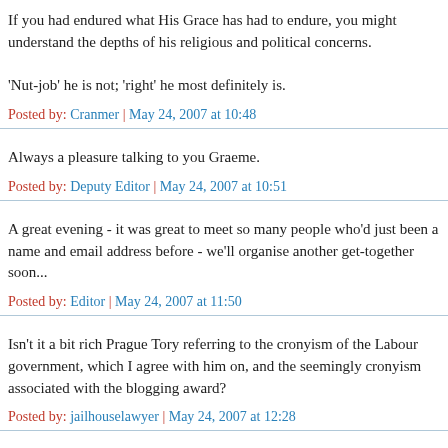If you had endured what His Grace has had to endure, you might understand the depths of his religious and political concerns.
Posted by: Cranmer | May 24, 2007 at 10:48
'Nut-job' he is not; 'right' he most definitely is.
Always a pleasure talking to you Graeme.
Posted by: Deputy Editor | May 24, 2007 at 10:51
A great evening - it was great to meet so many people who'd just been a name and email address before - we'll organise another get-together soon...
Posted by: Editor | May 24, 2007 at 11:50
Isn't it a bit rich Prague Tory referring to the cronyism of the Labour government, which I agree with him on, and the seemingly cronyism associated with the blogging award?
Posted by: jailhouselawyer | May 24, 2007 at 12:28